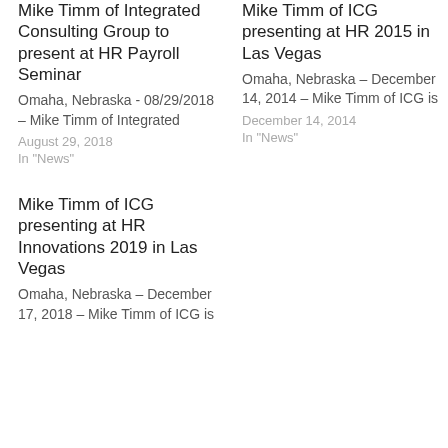Mike Timm of Integrated Consulting Group to present at HR Payroll Seminar
Omaha, Nebraska - 08/29/2018 – Mike Timm of Integrated
August 29, 2018
In "News"
Mike Timm of ICG presenting at HR 2015 in Las Vegas
Omaha, Nebraska – December 14, 2014 – Mike Timm of ICG is
December 14, 2014
In "News"
Mike Timm of ICG presenting at HR Innovations 2019 in Las Vegas
Omaha, Nebraska – December 17, 2018 – Mike Timm of ICG is